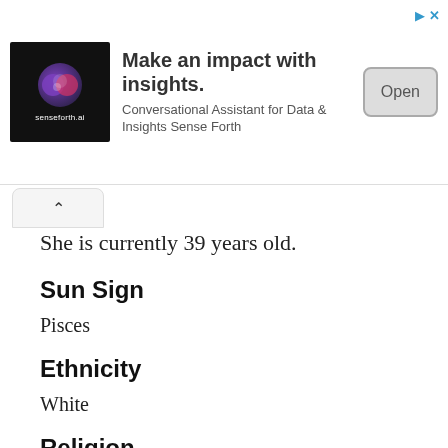[Figure (screenshot): Advertisement banner for senseforth.ai with logo, headline 'Make an impact with insights.', subtext 'Conversational Assistant for Data & Insights Sense Forth', and an 'Open' button.]
She is currently 39 years old.
Sun Sign
Pisces
Ethnicity
White
Religion